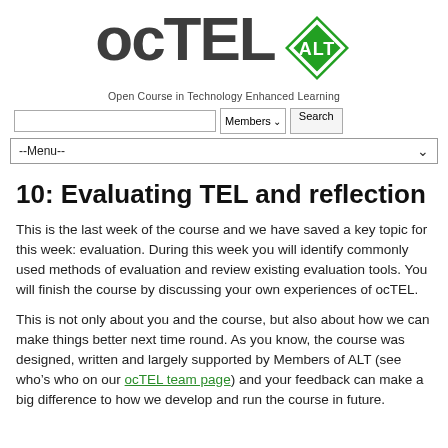[Figure (logo): ocTEL logo with ALT diamond logo. Large bold text 'ocTEL' with a green diamond-shaped ALT logo on the right.]
Open Course in Technology Enhanced Learning
[Figure (screenshot): Search bar with text input, Members dropdown, and Search button]
[Figure (screenshot): --Menu-- navigation dropdown bar]
10: Evaluating TEL and reflection
This is the last week of the course and we have saved a key topic for this week: evaluation. During this week you will identify commonly used methods of evaluation and review existing evaluation tools. You will finish the course by discussing your own experiences of ocTEL.
This is not only about you and the course, but also about how we can make things better next time round. As you know, the course was designed, written and largely supported by Members of ALT (see who’s who on our ocTEL team page) and your feedback can make a big difference to how we develop and run the course in future.